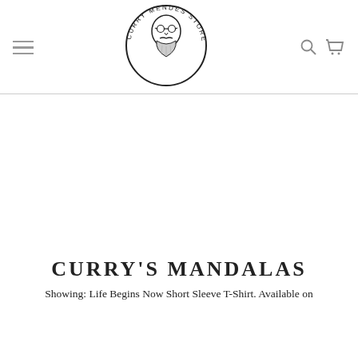[Figure (logo): Curry Mendes Store circular logo with illustrated bald man wearing glasses and having a beard and mustache, with text 'CURRY MENDES STORE' around the circle]
CURRY'S MANDALAS
Showing: Life Begins Now  Short Sleeve T-Shirt. Available on